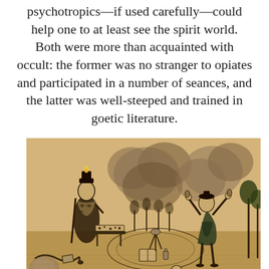psychotropics—if used carefully—could help one to at least see the spirit world. Both were more than acquainted with occult: the former was no stranger to opiates and participated in a number of seances, and the latter was well-steeped and trained in goetic literature.
[Figure (illustration): A sepia-toned historical engraving depicting two robed figures engaged in occult ritual. On the left, a skeletal or death-like figure wearing a sash with symbols holds a staff with a candle flame and stands near a table covered with ritual objects including what appears to be a book and scattered items. On the right, a robed figure stands with arms raised toward the sky amid large billowing clouds of smoke. A circular magical circle or boundary is drawn on the ground between them, with various ritual implements scattered around.]